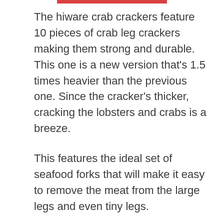The hiware crab crackers feature 10 pieces of crab leg crackers making them strong and durable. This one is a new version that's 1.5 times heavier than the previous one. Since the cracker's thicker, cracking the lobsters and crabs is a breeze.
This features the ideal set of seafood forks that will make it easy to remove the meat from the large legs and even tiny legs.
You could also use it to get the meat from the lobster tail. The 2 crab crackers are made of zinc alloy which makes it heavy